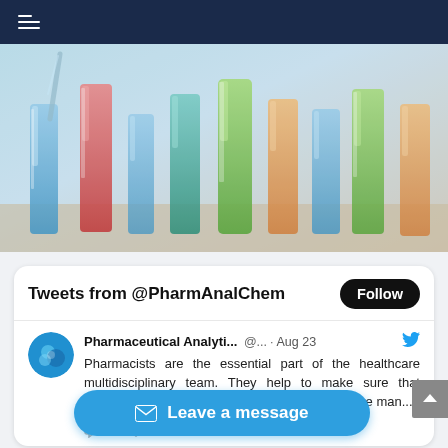Navigation bar with hamburger menu
[Figure (photo): Laboratory test tubes and beakers filled with colorful liquids (blue, red, green, orange, yellow) arranged in rows on a lab bench, close-up photo.]
Tweets from @PharmAnalChem
Follow
Pharmaceutical Analyti... @... · Aug 23
Pharmacists are the essential part of the healthcare multidisciplinary team. They help to make sure that medicines are used in the most safe, and effective manner...
Leave a message